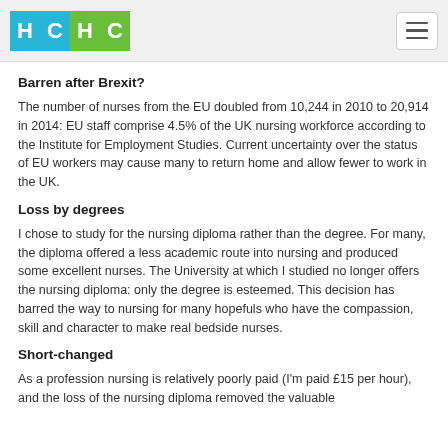HCHC
Barren after Brexit?
The number of nurses from the EU doubled from 10,244 in 2010 to 20,914 in 2014: EU staff comprise 4.5% of the UK nursing workforce according to the Institute for Employment Studies. Current uncertainty over the status of EU workers may cause many to return home and allow fewer to work in the UK.
Loss by degrees
I chose to study for the nursing diploma rather than the degree. For many, the diploma offered a less academic route into nursing and produced some excellent nurses. The University at which I studied no longer offers the nursing diploma: only the degree is esteemed. This decision has barred the way to nursing for many hopefuls who have the compassion, skill and character to make real bedside nurses.
Short-changed
As a profession nursing is relatively poorly paid (I'm paid £15 per hour), and the loss of the nursing diploma removed the valuable